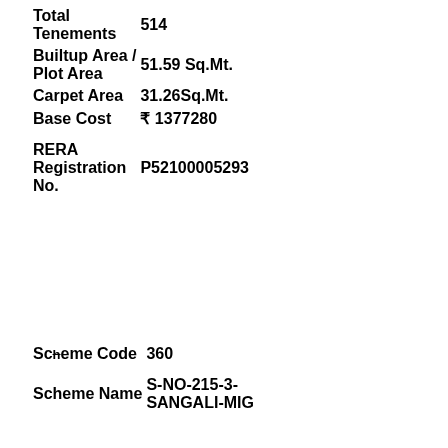| Total Tenements | 514 |
| Builtup Area / Plot Area | 51.59 Sq.Mt. |
| Carpet Area | 31.26Sq.Mt. |
| Base Cost | ₹ 1377280 |
| RERA Registration No. | P52100005293 |
| Scheme Code | 360 |
| Scheme Name | S-NO-215-3-SANGALI-MIG |